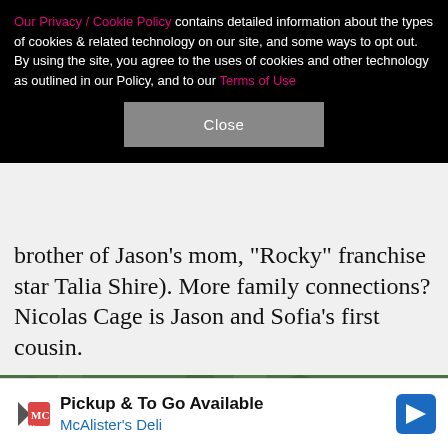Our Privacy / Cookie Policy contains detailed information about the types of cookies & related technology on our site, and some ways to opt out. By using the site, you agree to the uses of cookies and other technology as outlined in our Policy, and to our Terms of Use
Close
brother of Jason's mom, "Rocky" franchise star Talia Shire). More family connections? Nicolas Cage is Jason and Sofia's first cousin.
[Figure (photo): A woman with long brown hair wearing a pink off-shoulder dress posing at a Race to Erase event with green ivy backdrop and event logos]
Pickup & To Go Available McAlister's Deli